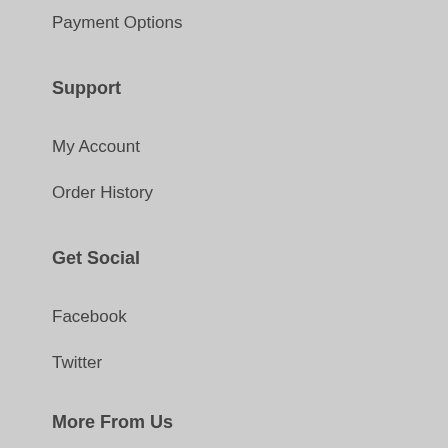Payment Options
Support
My Account
Order History
Get Social
Facebook
Twitter
More From Us
The Edge Systems